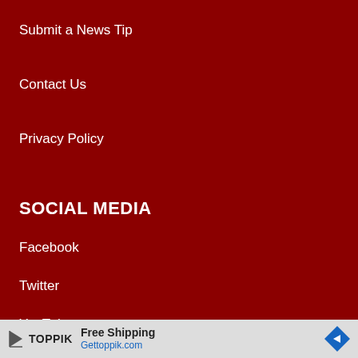Submit a News Tip
Contact Us
Privacy Policy
SOCIAL MEDIA
Facebook
Twitter
YouTube
OUR MISSION
To keep
McHenr
[Figure (infographic): Toppik advertisement banner with play button logo, Free Shipping text, Gettoppik.com URL, and blue diamond arrow button]